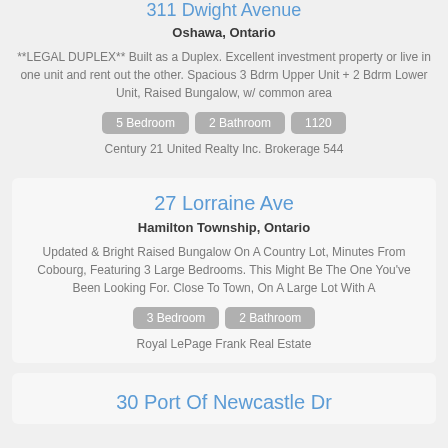311 Dwight Avenue
Oshawa, Ontario
**LEGAL DUPLEX** Built as a Duplex. Excellent investment property or live in one unit and rent out the other. Spacious 3 Bdrm Upper Unit + 2 Bdrm Lower Unit, Raised Bungalow, w/ common area
5 Bedroom
2 Bathroom
1120
Century 21 United Realty Inc. Brokerage 544
27 Lorraine Ave
Hamilton Township, Ontario
Updated & Bright Raised Bungalow On A Country Lot, Minutes From Cobourg, Featuring 3 Large Bedrooms. This Might Be The One You've Been Looking For. Close To Town, On A Large Lot With A
3 Bedroom
2 Bathroom
Royal LePage Frank Real Estate
30 Port Of Newcastle Dr